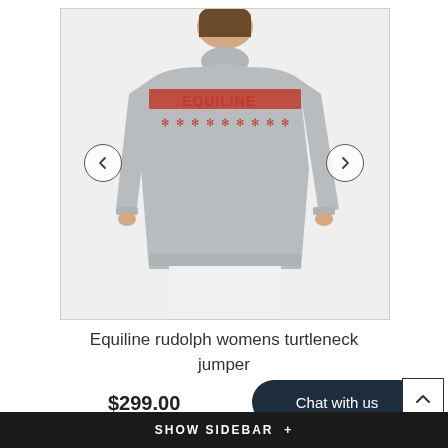[Figure (photo): Woman wearing a grey Equiline turtleneck jumper with red horse and snowflake pattern and 'EQUILINE' text on chest, paired with white pants]
Equiline rudolph womens turtleneck jumper
$299.00
Chat with us
SHOW SIDEBAR +